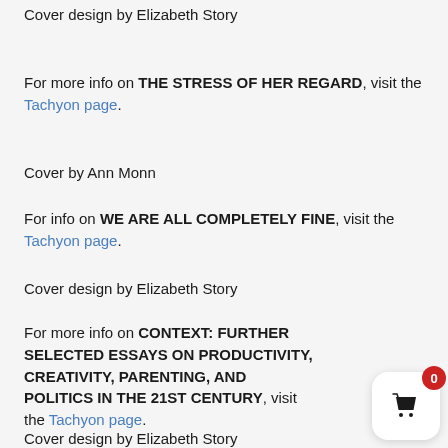Cover design by Elizabeth Story
For more info on THE STRESS OF HER REGARD, visit the Tachyon page.
Cover by Ann Monn
For info on WE ARE ALL COMPLETELY FINE, visit the Tachyon page.
Cover design by Elizabeth Story
For more info on CONTEXT: FURTHER SELECTED ESSAYS ON PRODUCTIVITY, CREATIVITY, PARENTING, AND POLITICS IN THE 21ST CENTURY, visit the Tachyon page.
Cover design by Elizabeth Story